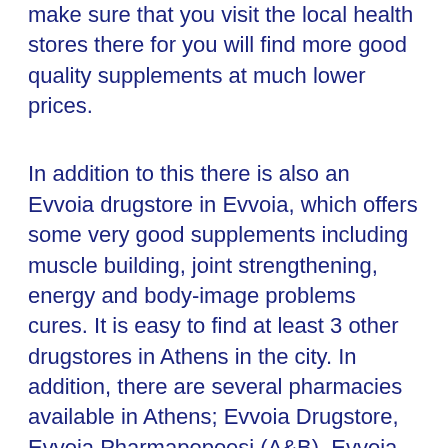make sure that you visit the local health stores there for you will find more good quality supplements at much lower prices.
In addition to this there is also an Evvoia drugstore in Evvoia, which offers some very good supplements including muscle building, joint strengthening, energy and body-image problems cures. It is easy to find at least 3 other drugstores in Athens in the city. In addition, there are several pharmacies available in Athens; Evvoia Drugstore, Evvoia Pharmapopoesi (A&B), Evvoia Pharmapoposis (A&B) and Evvoia Pharmatika (A&B).
If you are interested in buying drugs in Athens, you will need to call or visit the Health Department or the General